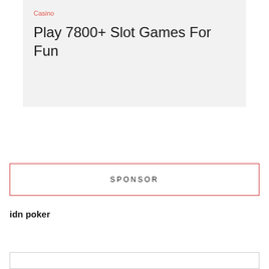Casino
Play 7800+ Slot Games For Fun
SPONSOR
idn poker